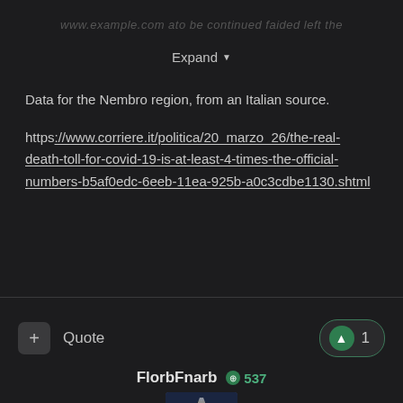(faded/cropped text at top — partially visible)
Expand ▼
Data for the Nembro region, from an Italian source.
https://www.corriere.it/politica/20_marzo_26/the-real-death-toll-for-covid-19-is-at-least-4-times-the-official-numbers-b5af0edc-6eeb-11ea-925b-a0c3cdbe1130.shtml
+ Quote
▲ 1
FlorbFnarb  537
[Figure (photo): User avatar image — dark background with abstract black and white figure/bird shape]
...